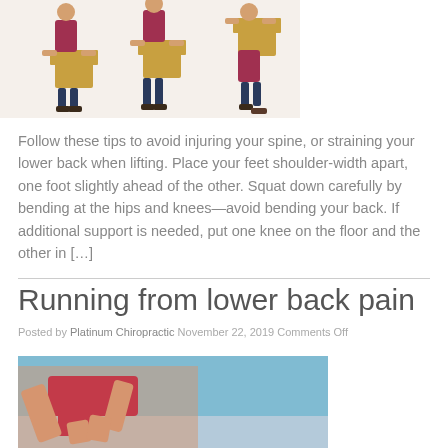[Figure (photo): Three-panel illustration showing a person lifting a cardboard box with proper technique — squatting down, picking up, and standing]
Follow these tips to avoid injuring your spine, or straining your lower back when lifting. Place your feet shoulder-width apart, one foot slightly ahead of the other. Squat down carefully by bending at the hips and knees—avoid bending your back. If additional support is needed, put one knee on the floor and the other in […]
Running from lower back pain
Posted by Platinum Chiropractic November 22, 2019 Comments Off
[Figure (photo): Close-up photo of a person running, showing torso and legs in motion against a blue background]